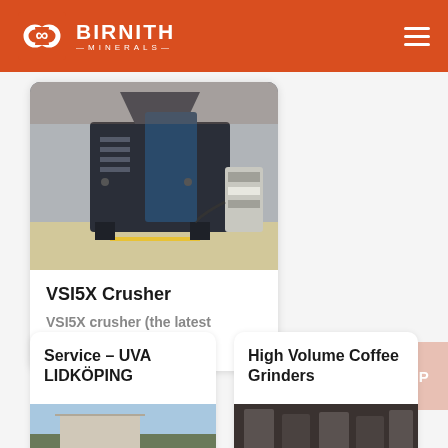BIRNITH MINERALS
[Figure (photo): VSI5X Crusher machine in industrial facility]
VSI5X Crusher
VSI5X crusher (the latest vertical shaft...
Service – UVA LIDKÖPING
High Volume Coffee Grinders
[Figure (photo): Service UVA Lidköping facility photo]
[Figure (photo): High Volume Coffee Grinders photo]